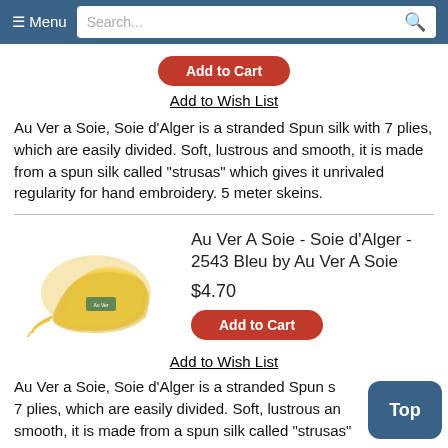≡ Menu  Search...
Add to Cart
Add to Wish List
Au Ver a Soie, Soie d'Alger is a stranded Spun silk with 7 plies, which are easily divided. Soft, lustrous and smooth, it is made from a spun silk called "strusas" which gives it unrivaled regularity for hand embroidery. 5 meter skeins.
[Figure (photo): Skein of golden/yellow silk embroidery thread by Au Ver A Soie]
Au Ver A Soie - Soie d'Alger - 2543 Bleu by Au Ver A Soie
$4.70
Add to Cart
Add to Wish List
Au Ver a Soie, Soie d'Alger is a stranded Spun silk with 7 plies, which are easily divided. Soft, lustrous and smooth, it is made from a spun silk called "strusas"